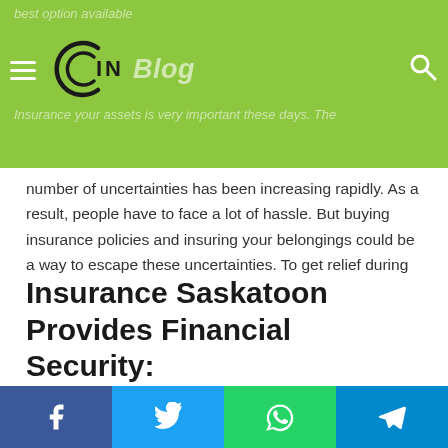best option available | Insurance your assets is very important these days. The number of uncertainties has been increasing rapidly.
number of uncertainties has been increasing rapidly. As a result, people have to face a lot of hassle. But buying insurance policies and insuring your belongings could be a way to escape these uncertainties. To get relief during unfavorable situations, people buy different types of insurance policies. For example, they usually purchase auto insurance Saskatoon, home insurance, etc. Many reasons make insurance a necessity these days. Some of those prevalent reasons are as follows:
Insurance Saskatoon Provides Financial Security:
Facebook | Twitter | WhatsApp | Telegram